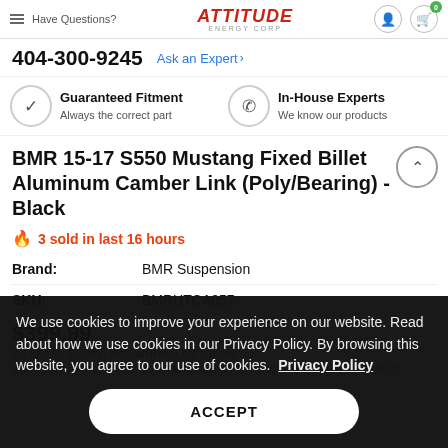Have Questions? ATTITUDE | 404-300-9245 | Ask an Expert
Guaranteed Fitment — Always the correct part | In-House Experts — We know our products
BMR 15-17 S550 Mustang Fixed Billet Aluminum Camber Link (Poly/Bearing) - Black
3 sold in last 16 hours
Brand: BMR Suspension
SKU: BMRUTCA057
$399.99
As low as $37/mo with Affirm. Learn more
BMR polyurethane non-adjustable control arms for Mustangs (UTCA057)
We use cookies to improve your experience on our website. Read about how we use cookies in our Privacy Policy. By browsing this website, you agree to our use of cookies.  Privacy Policy
ACCEPT